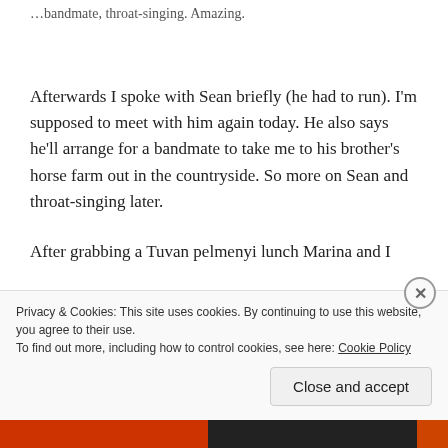…bandmate, throat-singing. Amazing.
Afterwards I spoke with Sean briefly (he had to run). I'm supposed to meet with him again today. He also says he'll arrange for a bandmate to take me to his brother's horse farm out in the countryside. So more on Sean and throat-singing later.
After grabbing a Tuvan pelmenyi lunch Marina and I
Privacy & Cookies: This site uses cookies. By continuing to use this website, you agree to their use.
To find out more, including how to control cookies, see here: Cookie Policy
Close and accept